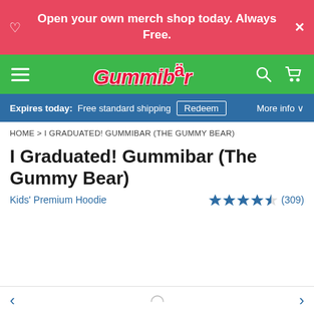Open your own merch shop today. Always Free.
[Figure (logo): Gummibar logo on green navigation bar with hamburger menu, search icon, and cart icon]
Expires today: Free standard shipping  Redeem  More info
HOME > I GRADUATED! GUMMIBAR (THE GUMMY BEAR)
I Graduated! Gummibar (The Gummy Bear)
Kids' Premium Hoodie
★★★★½ (309)